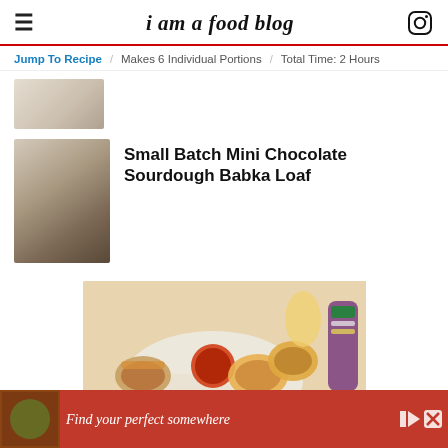i am a food blog
Jump To Recipe   Makes 6 Individual Portions   Total Time: 2 Hours
[Figure (photo): Top-down thumbnail of baked good on plate]
[Figure (photo): Overhead photo of chocolate babka loaf sliced on a plate with a fork]
Small Batch Mini Chocolate Sourdough Babka Loaf
[Figure (photo): Food photo of tacos on a white plate with dipping sauce and a bottle of Solo soda]
[Figure (photo): Advertisement banner: Find your perfect somewhere]